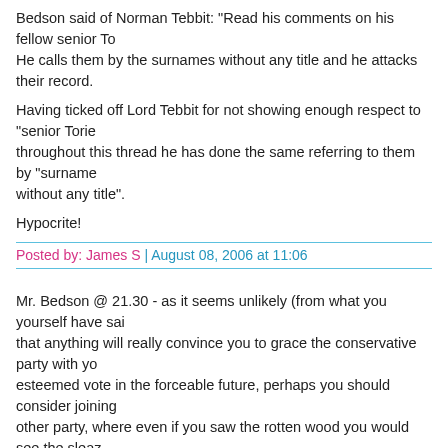Bedson said of Norman Tebbit: "Read his comments on his fellow senior To... He calls them by the surnames without any title and he attacks their record.
Having ticked off Lord Tebbit for not showing enough respect to "senior Torie... throughout this thread he has done the same referring to them by "surname... without any title".
Hypocrite!
Posted by: James S | August 08, 2006 at 11:06
Mr. Bedson @ 21.30 - as it seems unlikely (from what you yourself have sai... that anything will really convince you to grace the conservative party with yo... esteemed vote in the forceable future, perhaps you should consider joining... other party, where even if you saw the rotten wood you would see the sleaz...
Posted by: Patsy Sergeant | August 08, 2006 at 12:26
The end of my last post at 12.26, should have read - 'where even if you saw... rotten wood, you would NOT see the sleaze!
Posted by: Patsy Sergeant | August 08, 2006 at 12:28